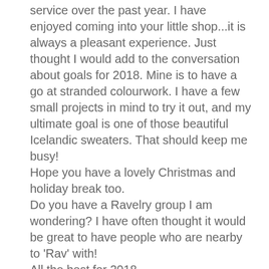service over the past year. I have enjoyed coming into your little shop...it is always a pleasant experience. Just thought I would add to the conversation about goals for 2018. Mine is to have a go at stranded colourwork. I have a few small projects in mind to try it out, and my ultimate goal is one of those beautiful Icelandic sweaters. That should keep me busy!
Hope you have a lovely Christmas and holiday break too.
Do you have a Ravelry group I am wondering? I have often thought it would be great to have people who are nearby to 'Rav' with!
All the best for 2018,
Tina Dean
— Tina Dean   December 24, 2017
Thanks Beth for being so helpful last week and allowing me to swap my measuring tape bracelet when I'd ordered the wrong size. it was admired by a couple of young women yesterday, so definitely worth